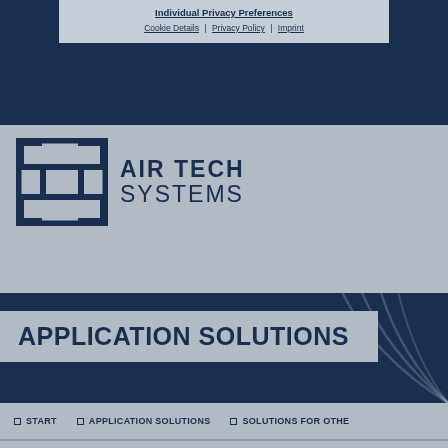Individual Privacy Preferences
Cookie Details | Privacy Policy | Imprint
[Figure (logo): LNG Air Tech Systems logo — geometric square maze icon in dark navy, with text AIR TECH SYSTEMS]
APPLICATION SOLUTIONS
START  APPLICATION SOLUTIONS  SOLUTIONS FOR OTHE